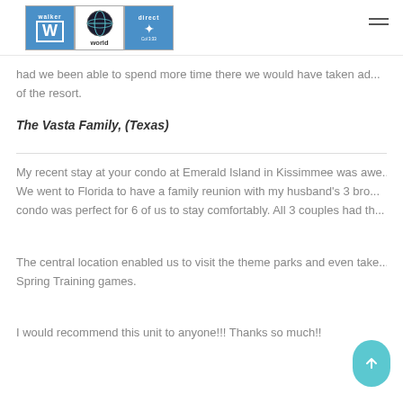Walker World Direct logo and navigation
had we been able to spend more time there we would have taken advantage of the resort.
The Vasta Family, (Texas)
My recent stay at your condo at Emerald Island in Kissimmee was awe... We went to Florida to have a family reunion with my husband's 3 bro... condo was perfect for 6 of us to stay comfortably. All 3 couples had th...
The central location enabled us to visit the theme parks and even take... Spring Training games.
I would recommend this unit to anyone!!! Thanks so much!!